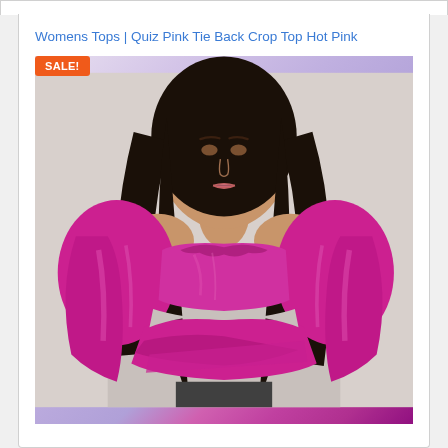Womens Tops | Quiz Pink Tie Back Crop Top Hot Pink
[Figure (photo): Model wearing a hot pink satin tie back crop top with puff long sleeves and cutout detail at the waist. SALE! badge in orange overlaid at top left of image.]